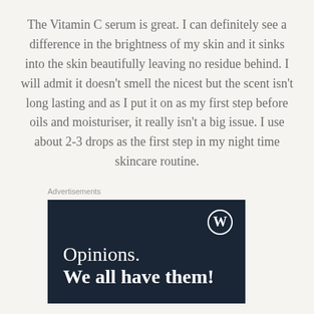The Vitamin C serum is great. I can definitely see a difference in the brightness of my skin and it sinks into the skin beautifully leaving no residue behind. I will admit it doesn't smell the nicest but the scent isn't long lasting and as I put it on as my first step before oils and moisturiser, it really isn't a big issue. I use about 2-3 drops as the first step in my night time skincare routine.
Advertisements
[Figure (other): Advertisement banner with dark navy background featuring the WordPress logo (W in circle) in top right corner and text 'Opinions. We all have them!' in white serif font.]